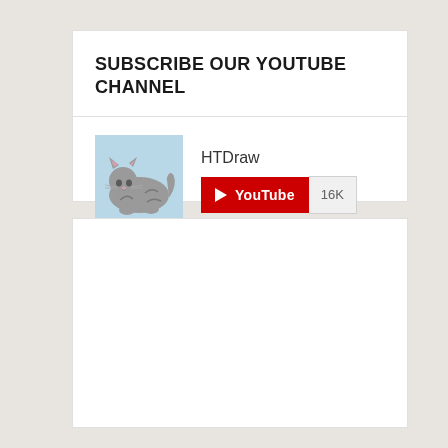SUBSCRIBE OUR YOUTUBE CHANNEL
[Figure (screenshot): YouTube channel subscription widget showing HTDraw channel with a cat illustration avatar, YouTube subscribe button in red with play icon, and subscriber count of 16K]
[Figure (other): Empty white card/placeholder content area below the YouTube widget]